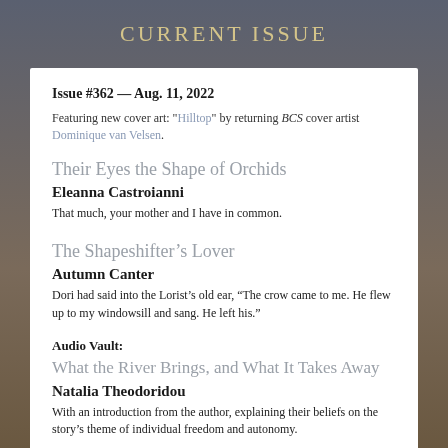Current Issue
Issue #362 — Aug. 11, 2022
Featuring new cover art: "Hilltop" by returning BCS cover artist Dominique van Velsen.
Their Eyes the Shape of Orchids
Eleanna Castroianni
That much, your mother and I have in common.
The Shapeshifter's Lover
Autumn Canter
Dori had said into the Lorist’s old ear, “The crow came to me. He flew up to my windowsill and sang. He left his.”
Audio Vault:
What the River Brings, and What It Takes Away
Natalia Theodoridou
With an introduction from the author, explaining their beliefs on the story’s theme of individual freedom and autonomy.